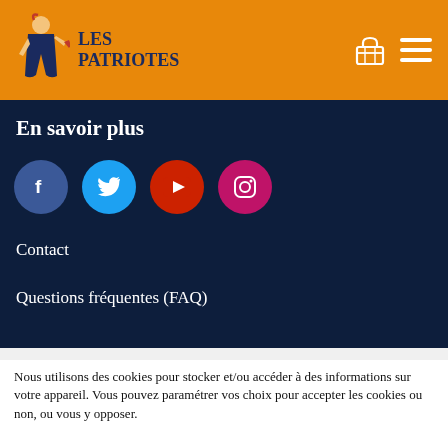LES PATRIOTES
En savoir plus
[Figure (illustration): Social media icons row: Facebook (dark blue), Twitter (light blue), YouTube (red), Instagram (pink/magenta) — all circular]
Contact
Questions fréquentes (FAQ)
Nous utilisons des cookies pour stocker et/ou accéder à des informations sur votre appareil. Vous pouvez paramétrer vos choix pour accepter les cookies ou non, ou vous y opposer.
Paramètres des cookies
Accepter tout
Tout rejeter